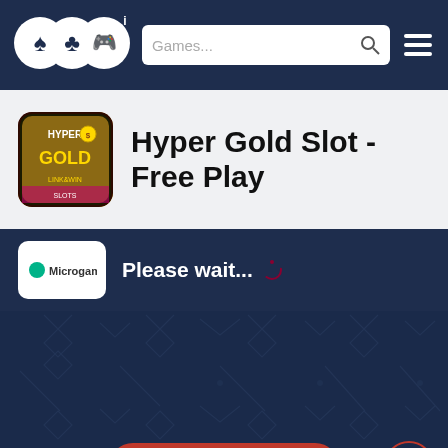OCG navigation bar with logo, Games... search, and hamburger menu
Hyper Gold Slot - Free Play
Please wait...
[Figure (screenshot): Dark blue game area with diamond and playing card suit pattern, Load Free Play button and up-arrow circle button]
Load Free Play